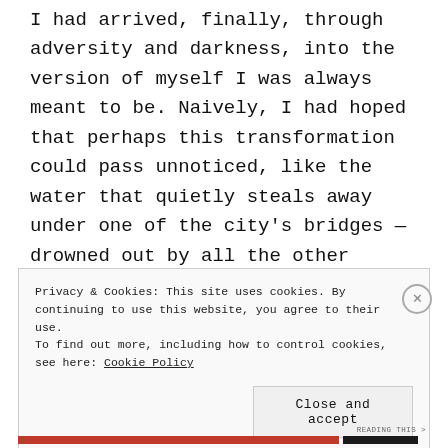I had arrived, finally, through adversity and darkness, into the version of myself I was always meant to be. Naively, I had hoped that perhaps this transformation could pass unnoticed, like the water that quietly steals away under one of the city's bridges — drowned out by all the other manifestations of life, melting into an indistinguishable symphony of sounds.
Privacy & Cookies: This site uses cookies. By continuing to use this website, you agree to their use.
To find out more, including how to control cookies, see here: Cookie Policy
Close and accept